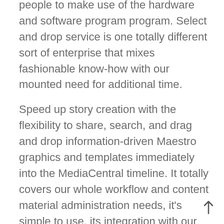people to make use of the hardware and software program program. Select and drop service is one totally different sort of enterprise that mixes fashionable know-how with our mounted need for additional time.
Speed up story creation with the flexibility to share, search, and drag and drop information-driven Maestro graphics and templates immediately into the MediaCentral timeline. It totally covers our whole workflow and content material administration needs, it's simple to use, its integration with our systems has been good and the users have realized to make use of it in a really brief period of time.
Manufacturing of the planes, which were grounded after two crashes killed 346 folks, will remain on hiatus until regulators...